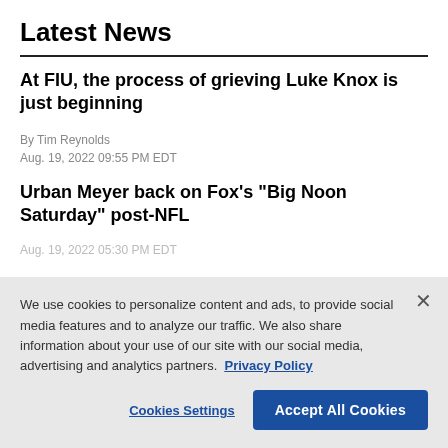Latest News
At FIU, the process of grieving Luke Knox is just beginning
By Tim Reynolds
Aug. 19, 2022 09:55 PM EDT
Urban Meyer back on Fox's "Big Noon Saturday" post-NFL
We use cookies to personalize content and ads, to provide social media features and to analyze our traffic. We also share information about your use of our site with our social media, advertising and analytics partners. Privacy Policy
Cookies Settings
Accept All Cookies